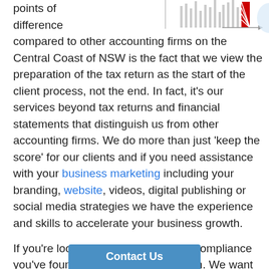[Figure (illustration): Partial bar chart graphic with red element at top right, and partial circular graphic at far right edge. Shows 'points of difference' text partially visible at top left.]
points of difference compared to other accounting firms on the Central Coast of NSW is the fact that we view the preparation of the tax return as the start of the client process, not the end. In fact, it's our services beyond tax returns and financial statements that distinguish us from other accounting firms. We do more than just 'keep the score' for our clients and if you need assistance with your business marketing including your branding, website, videos, digital publishing or social media strategies we have the experience and skills to accelerate your business growth.
If you're looking to slash the cost of compliance you've found the right accounting firm. We want to be your accountant not an expensive bookkeeping service so we'll